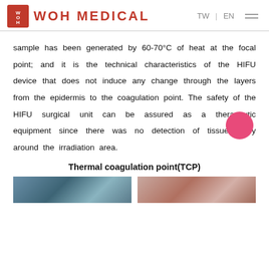WOH MEDICAL   TW | EN
sample has been generated by 60-70°C of heat at the focal point; and it is the technical characteristics of the HIFU device that does not induce any change through the layers from the epidermis to the coagulation point. The safety of the HIFU surgical unit can be assured as a therapeutic equipment since there was no detection of tissue injury around the irradiation area.
Thermal coagulation point(TCP)
[Figure (photo): Two side-by-side medical/tissue images showing thermal coagulation points]